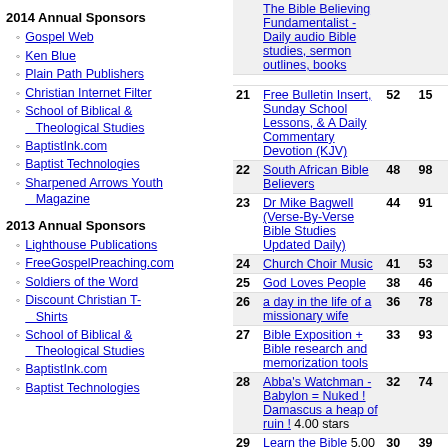2014 Annual Sponsors
Gospel Web
Ken Blue
Plain Path Publishers
Christian Internet Filter
School of Biblical & Theological Studies
BaptistInk.com
Baptist Technologies
Sharpened Arrows Youth Magazine
2013 Annual Sponsors
Lighthouse Publications
FreeGospelPreaching.com
Soldiers of the Word
Discount Christian T-Shirts
School of Biblical & Theological Studies
BaptistInk.com
Baptist Technologies
| Rank | Site | Col3 | Col4 |
| --- | --- | --- | --- |
|  | The Bible Believing Fundamentalist - Daily audio Bible studies, sermon outlines, books |  |  |
| 21 | Free Bulletin Insert, Sunday School Lessons, & A Daily Commentary Devotion (KJV) | 52 | 15 |
| 22 | South African Bible Believers | 48 | 98 |
| 23 | Dr Mike Bagwell (Verse-By-Verse Bible Studies Updated Daily) | 44 | 91 |
| 24 | Church Choir Music | 41 | 53 |
| 25 | God Loves People | 38 | 46 |
| 26 | a day in the life of a missionary wife | 36 | 78 |
| 27 | Bible Exposition + Bible research and memorization tools | 33 | 93 |
| 28 | Abba's Watchman - Babylon = Nuked ! Damascus a heap of ruin ! 4.00 stars | 32 | 74 |
| 29 | Learn the Bible 5.00 stars | 30 | 39 |
| 30 | Baptist.org A Place For All Baptists | 27 | 55 |
| 31 | FUNDAMENTAL BAPTIST BOOKS -- THE KING JAMES BIBLE BOOKSTORE formerly Faith Music and Books 5.00 stars | 22 | 34 |
| 32 | ChildCare Action Project (CAP) Ministry - Christian Movie Analysis Reports for Parents | 21 | 61 |
| 33 | Sermon and Song | 20 | 0 |